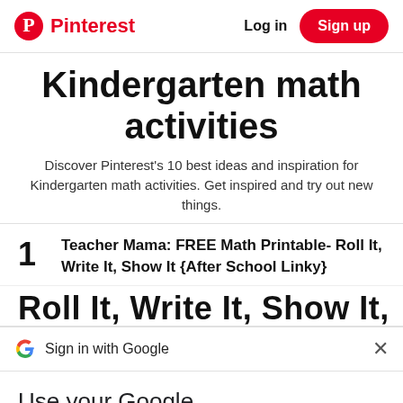Pinterest  Log in  Sign up
Kindergarten math activities
Discover Pinterest's 10 best ideas and inspiration for Kindergarten math activities. Get inspired and try out new things.
1  Teacher Mama: FREE Math Printable- Roll It, Write It, Show It {After School Linky}
Roll It, Write It, Show It,
Sign in with Google
Use your Google Account to sign in to Pinterest
No more passwords to remember.